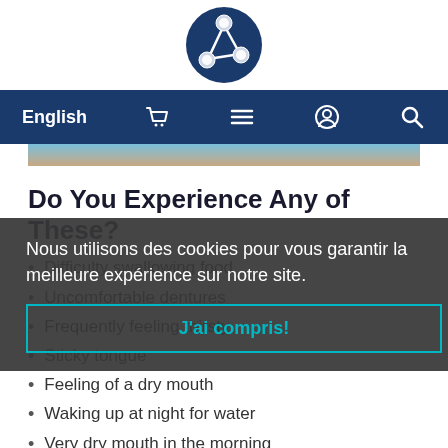[Figure (logo): Molecular/network logo: dark navy blue circle with three white spheres connected by lines forming a triangular molecule shape]
English  [cart icon]  [menu icon]  [account icon]  [search icon]
[Figure (photo): Partial photo strip showing a person's face/skin, blue tones at left]
Do You Experience Any of These?
Difficulty swallowing food
Uncomfortable dentures
Frequently feeling thirsty
Sticky tongue
Feeling of a dry mouth
Waking up at night for water
Very dry mouth in the morning
Nous utilisons des cookies pour vous garantir la meilleure expérience sur notre site.
J'ai compris!